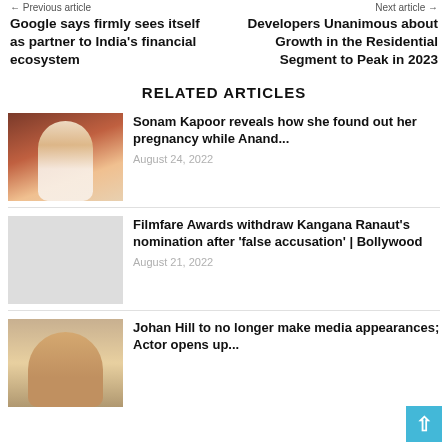← Previous article    Next article →
Google says firmly sees itself as partner to India's financial ecosystem
Developers Unanimous about Growth in the Residential Segment to Peak in 2023
RELATED ARTICLES
[Figure (photo): Sonam Kapoor photo in white outfit with dark floral background]
Sonam Kapoor reveals how she found out her pregnancy while Anand...
August 24, 2022
Filmfare Awards withdraw Kangana Ranaut's nomination after 'false accusation' | Bollywood
August 21, 2022
[Figure (photo): Jonah Hill photo at an event]
Johan Hill to no longer make media appearances; Actor opens up...